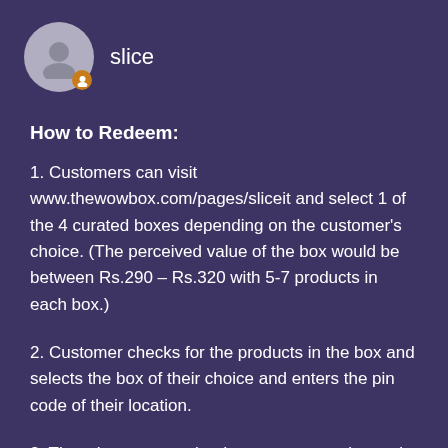slice
How to Redeem:
1. Customers can visit www.thewowbox.com/pages/sliceit and select 1 of the 4 curated boxes depending on the customer's choice. (The perceived value of the box would be between Rs.290 – Rs.320 with 5-7 products in each box.)
2. Customer checks for the products in the box and selects the box of their choice and enters the pin code of their location.
3. Then the customer lands on a page to sign up by filling in